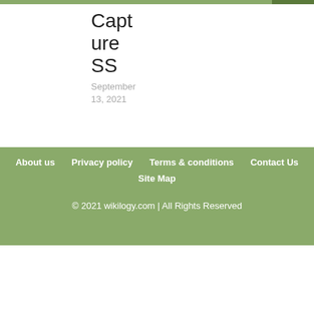Capture SS
September 13, 2021
About us   Privacy policy   Terms & conditions   Contact Us   Site Map
© 2021 wikilogy.com | All Rights Reserved